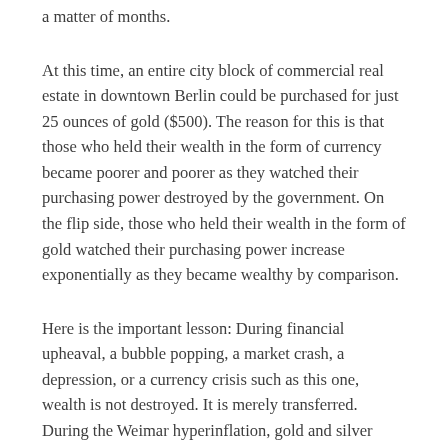a matter of months.
At this time, an entire city block of commercial real estate in downtown Berlin could be purchased for just 25 ounces of gold ($500). The reason for this is that those who held their wealth in the form of currency became poorer and poorer as they watched their purchasing power destroyed by the government. On the flip side, those who held their wealth in the form of gold watched their purchasing power increase exponentially as they became wealthy by comparison.
Here is the important lesson: During financial upheaval, a bubble popping, a market crash, a depression, or a currency crisis such as this one, wealth is not destroyed. It is merely transferred. During the Weimar hyperinflation, gold and silver didn't just win, but smashed their opponent into the